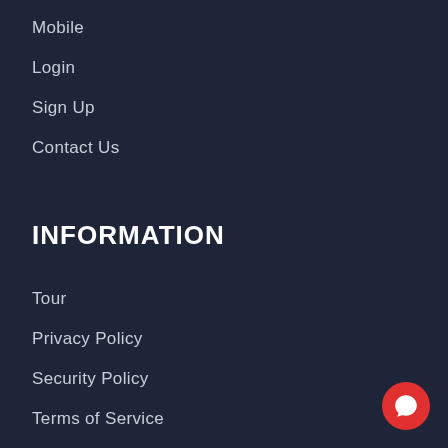Mobile
Login
Sign Up
Contact Us
INFORMATION
Tour
Privacy Policy
Security Policy
Terms of Service
Cancellation
CONTACT US
USA/Canada: 866.259.2454